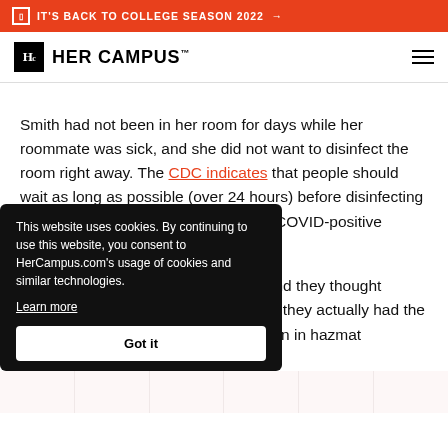IT'S BACK TO COLLEGE SEASON 2022 →
[Figure (logo): Her Campus logo with Hc icon and wordmark]
Smith had not been in her room for days while her roommate was sick, and she did not want to disinfect the room right away. The CDC indicates that people should wait as long as possible (over 24 hours) before disinfecting an area that has been occupied by a COVID-positive person.
"Last semester, there was a mix-up and they thought someone had COVID in my room, but they actually had the wrong room [and], I saw three men in hazmat [suits] [with] the school provided
[Resident Assist]ant (RA) that the university no
This website uses cookies. By continuing to use this website, you consent to HerCampus.com's usage of cookies and similar technologies.
Learn more
Got it